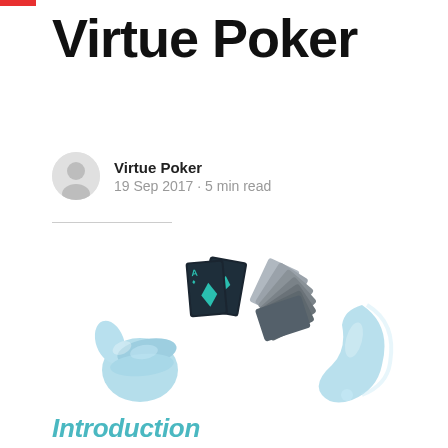Virtue Poker
Virtue Poker
19 Sep 2017 · 5 min read
[Figure (illustration): Stylized 3D render of two light-blue hands and a fan of dark playing cards with teal diamond suit symbols, on a white background.]
Introduction